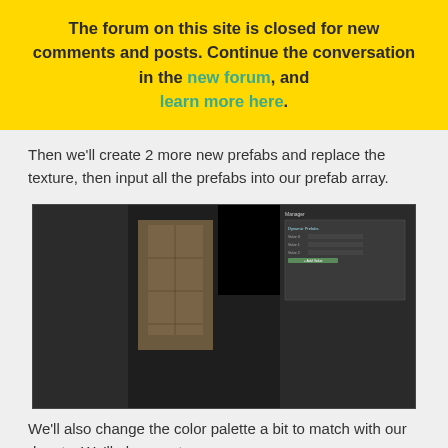The forum on this site is closed for new comments and posts. Continue the conversation in the new forum, and learn more here.
Then we'll create 2 more new prefabs and replace the texture, then input all the prefabs into our prefab array.
[Figure (screenshot): Screenshot of a Unity game development IDE showing a scene editor with a cookie-catching game, an inspector panel on the right with Dynamic Prefabs settings, and a preview panel showing a mobile screen with 'CATCH COOKIES WITH YOUR MOUTH' text and a START button.]
We'll also change the color palette a bit to match with our donuts. We'll also create new